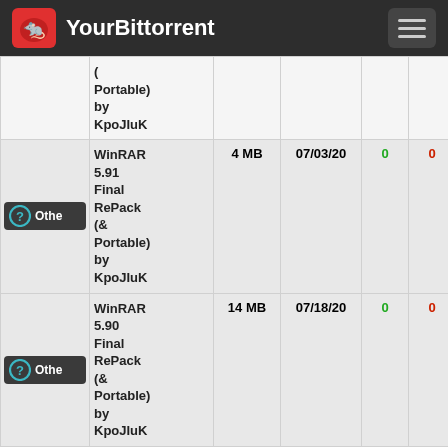YourBittorrent
| Category | Name | Size | Date | Seeds | Leeches | DL |
| --- | --- | --- | --- | --- | --- | --- |
| Othe | (Portable) by KpoJIuK |  |  |  |  |  |
| Othe | WinRAR 5.91 Final RePack (& Portable) by KpoJIuK | 4 MB | 07/03/20 | 0 | 0 |  |
| Othe | WinRAR 5.90 Final RePack (& Portable) by KpoJIuK | 14 MB | 07/18/20 | 0 | 0 |  |